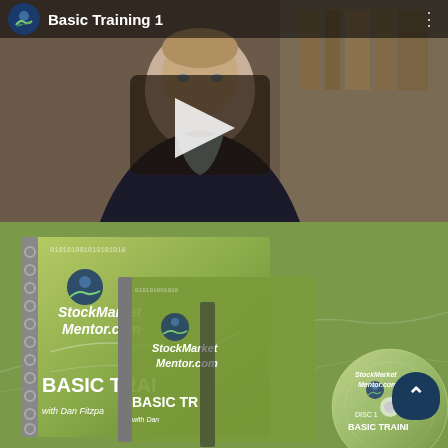[Figure (screenshot): Video thumbnail for 'Basic Training 1' from Stock Market Mentor. Shows a man in a dark suit with a video play button overlay. The video player has a dark header bar with the Stock Market Mentor logo and the title 'Basic Training 1'.]
[Figure (photo): Product image showing StockMarketMentor.com Basic Training course materials including spiral-bound workbooks and DVDs (Disc 1 and Disc 4) labeled 'Basic Training with Dan Fitzpatrick'. Green and olive color scheme with stock chart graphics.]